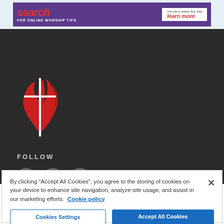[Figure (screenshot): Top banner advertisement with purple background showing 'search FOR ONLINE WORSHIP TIPS' in red italic text and 'learn more' button on white background]
[Figure (logo): United Methodist Church cross and flame logo in red and white on dark background]
FOLLOW
[Figure (illustration): Social media icons: Facebook (f), LinkedIn (in), YouTube (You/tube) as grey circles]
By clicking "Accept All Cookies", you agree to the storing of cookies on your device to enhance site navigation, analyze site usage, and assist in our marketing efforts.  Cookie policy
Cookies Settings
Accept All Cookies